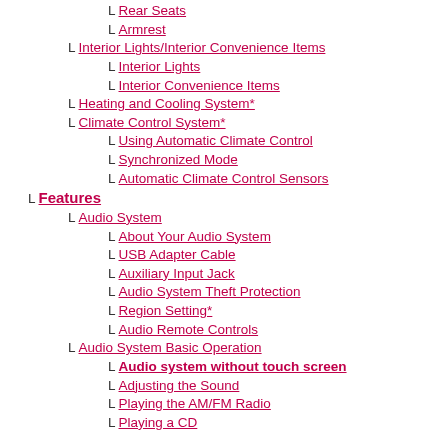Rear Seats
Armrest
Interior Lights/Interior Convenience Items
Interior Lights
Interior Convenience Items
Heating and Cooling System*
Climate Control System*
Using Automatic Climate Control
Synchronized Mode
Automatic Climate Control Sensors
Features
Audio System
About Your Audio System
USB Adapter Cable
Auxiliary Input Jack
Audio System Theft Protection
Region Setting*
Audio Remote Controls
Audio System Basic Operation
Audio system without touch screen
Adjusting the Sound
Playing the AM/FM Radio
Playing a CD